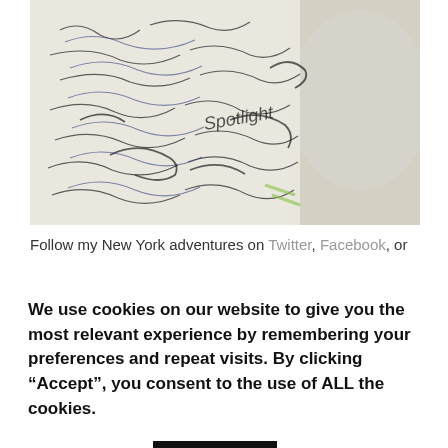[Figure (photo): A close-up photograph of a paper (possibly a tablecloth or napkin) covered in handwritten notes, signatures, and scribbles in blue and black ink, with a white textured surface visible in the background.]
Follow my New York adventures on Twitter, Facebook, or
We use cookies on our website to give you the most relevant experience by remembering your preferences and repeat visits. By clicking “Accept”, you consent to the use of ALL the cookies.
Cookie settings
ACCEPT